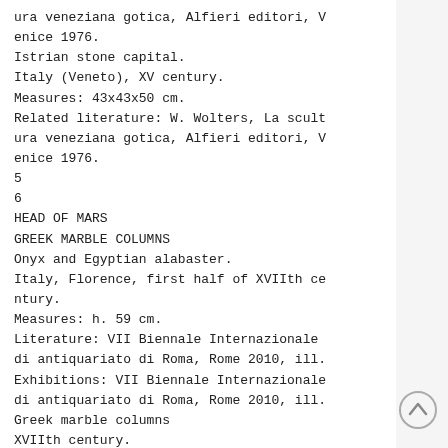ura veneziana gotica, Alfieri editori, Venice 1976.
Istrian stone capital.
Italy (Veneto), XV century.
Measures: 43x43x50 cm.
Related literature: W. Wolters, La scultura veneziana gotica, Alfieri editori, Venice 1976.
5
6
HEAD OF MARS
GREEK MARBLE COLUMNS
Onyx and Egyptian alabaster.
Italy, Florence, first half of XVIIth century.
Measures: h. 59 cm.
Literature: VII Biennale Internazionale di antiquariato di Roma, Rome 2010, ill.
Exhibitions: VII Biennale Internazionale di antiquariato di Roma, Rome 2010, ill.
Greek marble columns
XVIIth century.
Measures: 191x30x30 cm
7